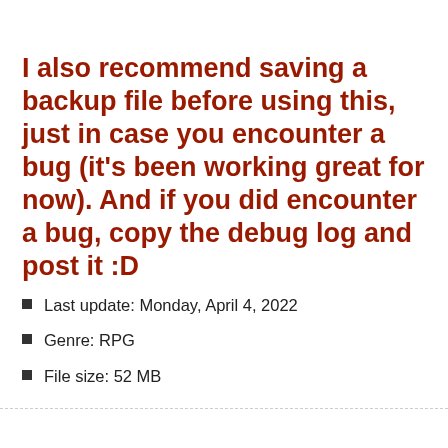I also recommend saving a backup file before using this, just in case you encounter a bug (it's been working great for now). And if you did encounter a bug, copy the debug log and post it :D
Last update: Monday, April 4, 2022
Genre: RPG
File size: 52 MB